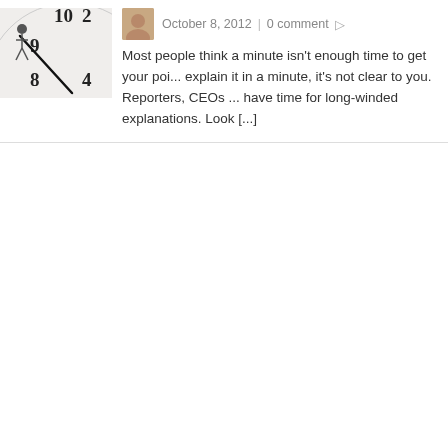[Figure (photo): Clock face with numbers 10, 9, 8 visible and a person walking on clock hands]
October 8, 2012  |  0 comment
Most people think a minute isn't enough time to get your poi... explain it in a minute, it's not clear to you. Reporters, CEOs ... have time for long-winded explanations. Look [...]